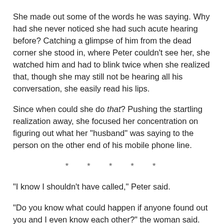She made out some of the words he was saying. Why had she never noticed she had such acute hearing before? Catching a glimpse of him from the dead corner she stood in, where Peter couldn't see her, she watched him and had to blink twice when she realized that, though she may still not be hearing all his conversation, she easily read his lips.
Since when could she do that? Pushing the startling realization away, she focused her concentration on figuring out what her "husband" was saying to the person on the other end of his mobile phone line.
* * * * *
"I know I shouldn't have called," Peter said.
"Do you know what could happen if anyone found out you and I even know each other?" the woman said.
Oh, he knew, all right, but he couldn't help himself. He needed to hear her voice. He needed her to tell him